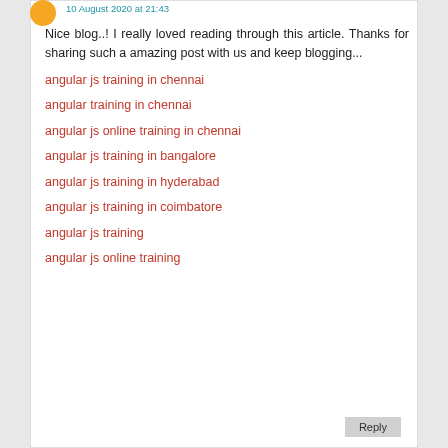10 August 2020 at 21:43
Nice blog..! I really loved reading through this article. Thanks for sharing such a amazing post with us and keep blogging...
angular js training in chennai
angular training in chennai
angular js online training in chennai
angular js training in bangalore
angular js training in hyderabad
angular js training in coimbatore
angular js training
angular js online training